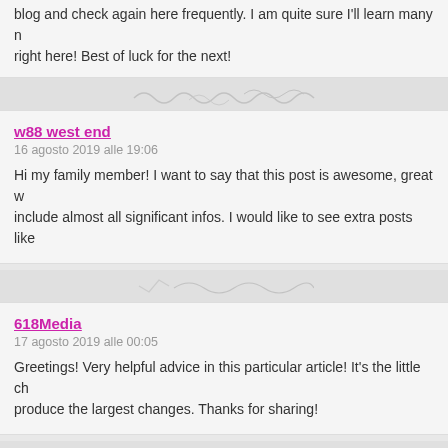blog and check again here frequently. I am quite sure I'll learn many new stuff right here! Best of luck for the next!
w88 west end
16 agosto 2019 alle 19:06
Hi my family member! I want to say that this post is awesome, great w... include almost all significant infos. I would like to see extra posts like
618Media
17 agosto 2019 alle 00:05
Greetings! Very helpful advice in this particular article! It's the little cha... produce the largest changes. Thanks for sharing!
1sthoustonpainting.com
17 agosto 2019 alle 12:19
You are my inhalation , I possess few blogs and very sporadically run... to post .